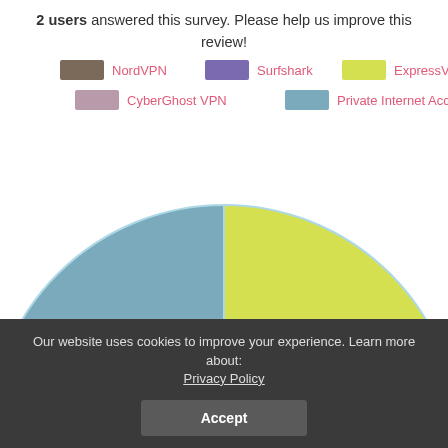2 users answered this survey. Please help us improve this review!
[Figure (pie-chart): Alternatives]
Our website uses cookies to improve your experience. Learn more about: Privacy Policy